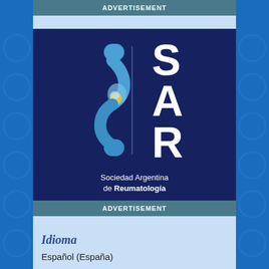ADVERTISEMENT
[Figure (logo): SAR - Sociedad Argentina de Reumatología logo on dark blue background with stylized spine/vertebra symbol]
ADVERTISEMENT
Idioma
Español (España)